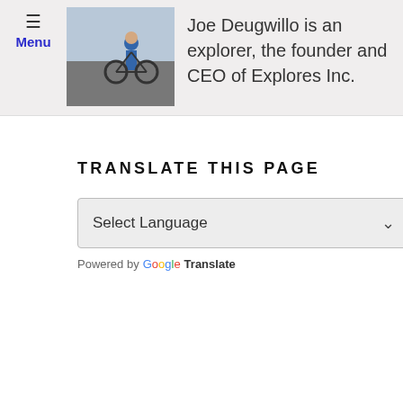Menu
Joe Deugwillo is an explorer, the founder and CEO of Explores Inc.
TRANSLATE THIS PAGE
Select Language
Powered by Google Translate